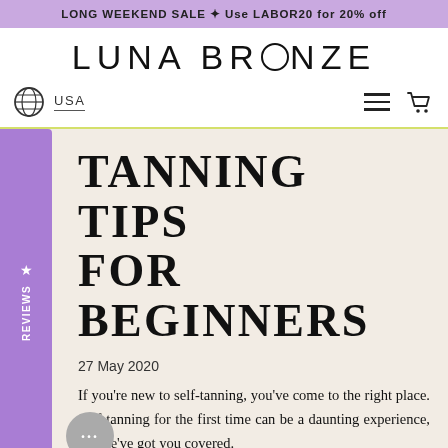LONG WEEKEND SALE 🏷 Use LABOR20 for 20% off
[Figure (logo): Luna Bronze logo with stylized text and circular O]
USA  ☰  🛒
TANNING TIPS FOR BEGINNERS
27 May 2020
If you're new to self-tanning, you've come to the right place. Self-tanning for the first time can be a daunting experience, but we've got you covered.